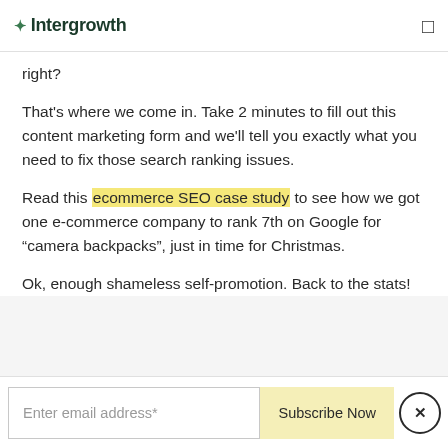Intergrowth
right?
That's where we come in. Take 2 minutes to fill out this content marketing form and we'll tell you exactly what you need to fix those search ranking issues.
Read this ecommerce SEO case study to see how we got one e-commerce company to rank 7th on Google for “camera backpacks”, just in time for Christmas.
Ok, enough shameless self-promotion. Back to the stats!